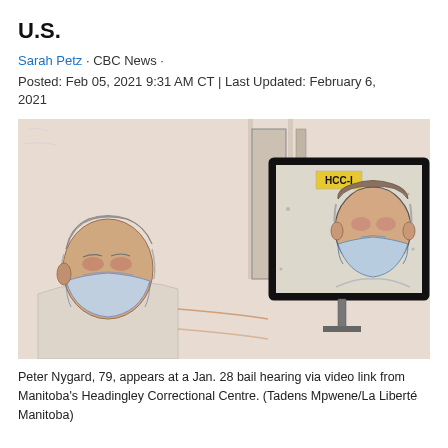U.S.
Sarah Petz · CBC News · Posted: Feb 05, 2021 9:31 AM CT | Last Updated: February 6, 2021
[Figure (illustration): Court sketch showing Peter Nygard, 79, appearing at a bail hearing via video link from Manitoba's Headingley Correctional Centre. Two figures are depicted: one in person on the left wearing a mask, and one on a monitor screen on the right wearing a mask and a label 'HCC-1'.]
Peter Nygard, 79, appears at a Jan. 28 bail hearing via video link from Manitoba's Headingley Correctional Centre. (Tadens Mpwene/La Liberté Manitoba)